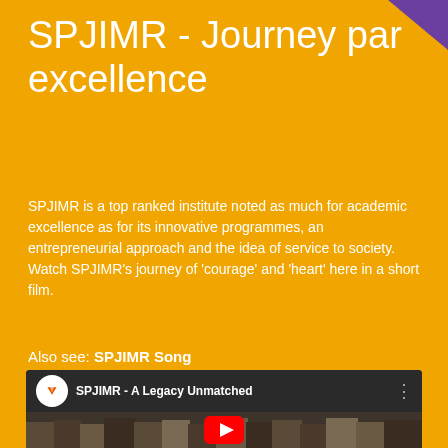SPJIMR - Journey par excellence
SPJIMR is a top ranked institute noted as much for academic excellence as for its innovative programmes, an entrepreneurial approach and the idea of service to society. Watch SPJIMR’s journey of ‘courage’ and ‘heart’ here in a short film.
Also see: SPJIMR Song
[Figure (screenshot): YouTube video thumbnail showing SPJIMR - A Legacy Unmatched, with a group of students in black and white, SPJIMR logo circle, and YouTube play button]